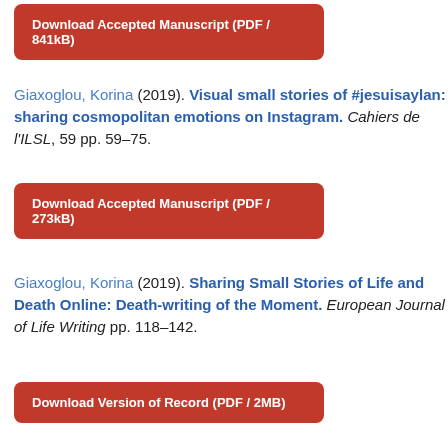[Figure (other): Red rounded button: Download Accepted Manuscript (PDF / 841kB)]
Giaxoglou, Korina (2019). Visual small stories of #jesuisaylan: sharing cosmopolitan emotions on Instagram. Cahiers de l'ILSL, 59 pp. 59–75.
[Figure (other): Red rounded button: Download Accepted Manuscript (PDF / 273kB)]
Giaxoglou, Korina (2019). Sharing Small Stories of Life and Death Online: Death-writing of the Moment. European Journal of Life Writing pp. 118–142.
[Figure (other): Red rounded button: Download Version of Record (PDF / 2MB)]